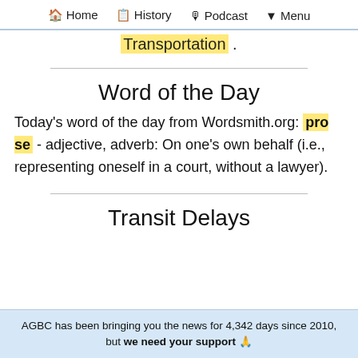🏠 Home  📋 History  🎙 Podcast  ▼ Menu
Transportation .
Word of the Day
Today's word of the day from Wordsmith.org: pro se - adjective, adverb: On one's own behalf (i.e., representing oneself in a court, without a lawyer).
Transit Delays
AGBC has been bringing you the news for 4,342 days since 2010, but we need your support 🙏